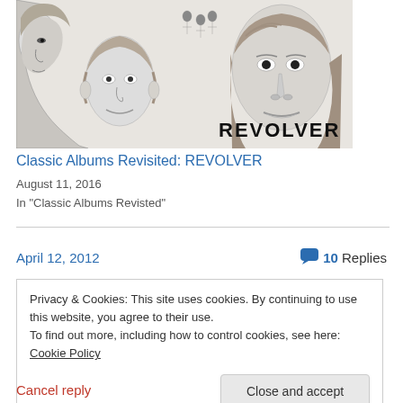[Figure (illustration): Black and white illustration of the Beatles Revolver album cover showing four faces and the word REVOLVER in bold text]
Classic Albums Revisited: REVOLVER
August 11, 2016
In "Classic Albums Revisted"
April 12, 2012
10 Replies
Privacy & Cookies: This site uses cookies. By continuing to use this website, you agree to their use.
To find out more, including how to control cookies, see here: Cookie Policy
Close and accept
Cancel reply